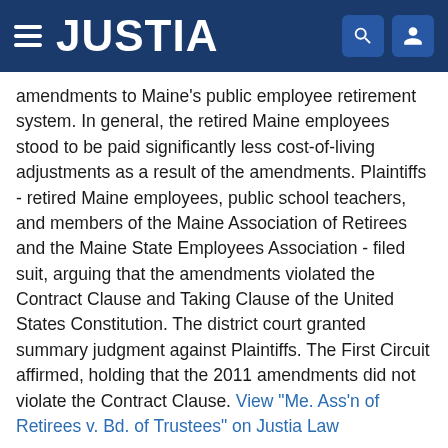JUSTIA
amendments to Maine's public employee retirement system. In general, the retired Maine employees stood to be paid significantly less cost-of-living adjustments as a result of the amendments. Plaintiffs - retired Maine employees, public school teachers, and members of the Maine Association of Retirees and the Maine State Employees Association - filed suit, arguing that the amendments violated the Contract Clause and Taking Clause of the United States Constitution. The district court granted summary judgment against Plaintiffs. The First Circuit affirmed, holding that the 2011 amendments did not violate the Contract Clause. View "Me. Ass'n of Retirees v. Bd. of Trustees" on Justia Law
Posted in: Constitutional Law, Labor & Employment Law, U.S. 1st Circuit Court of Appeals